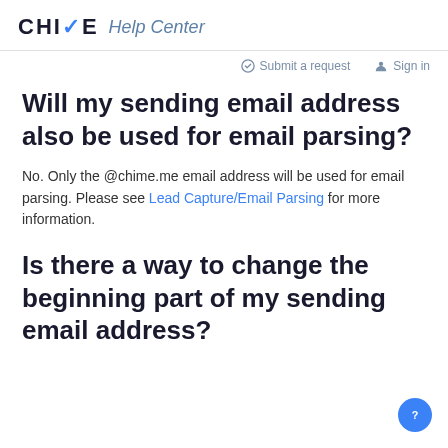CHIME Help Center
Submit a request   Sign in
Will my sending email address also be used for email parsing?
No. Only the @chime.me email address will be used for email parsing. Please see Lead Capture/Email Parsing for more information.
Is there a way to change the beginning part of my sending email address?